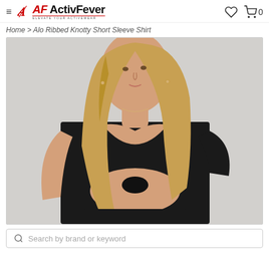ActivFever — ELEVATE YOUR ACTIVEWEAR | Wishlist | Cart 0
Home > Alo Ribbed Knotty Short Sleeve Shirt
[Figure (photo): A woman with long blonde hair wearing a black ribbed knotty short sleeve crop shirt tied at the front, showing her midriff, against a light grey background.]
Search by brand or keyword